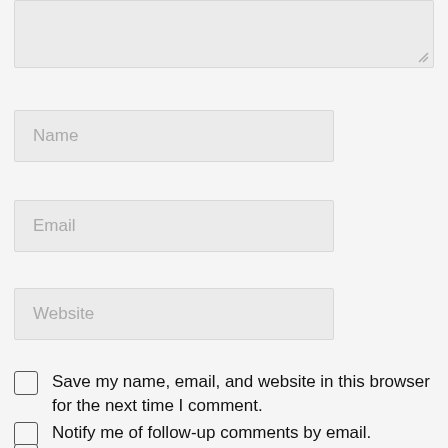[Figure (screenshot): Textarea input field (comment box) shown partially at top, with resize handle at bottom-right corner]
Name
Email
Website
Save my name, email, and website in this browser for the next time I comment.
Notify me of follow-up comments by email.
Notify me of new posts by email.